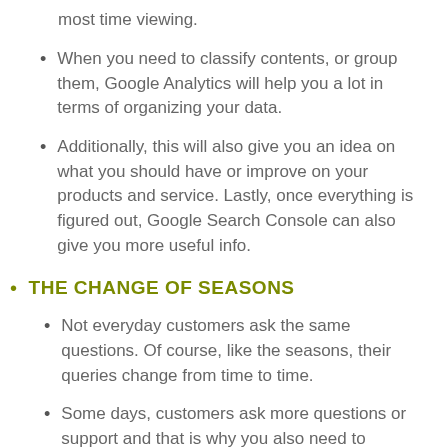most time viewing.
When you need to classify contents, or group them, Google Analytics will help you a lot in terms of organizing your data.
Additionally, this will also give you an idea on what you should have or improve on your products and service. Lastly, once everything is figured out, Google Search Console can also give you more useful info.
THE CHANGE OF SEASONS
Not everyday customers ask the same questions. Of course, like the seasons, their queries change from time to time.
Some days, customers ask more questions or support and that is why you also need to analyze search and its seasonality.